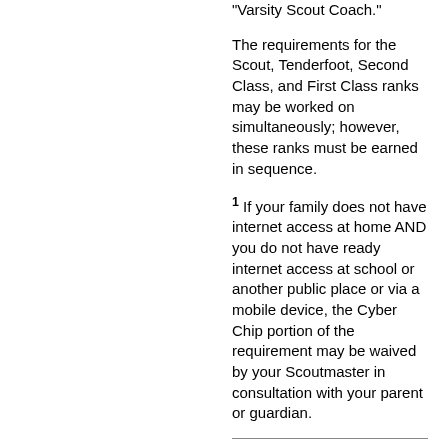"Varsity Scout Coach."
The requirements for the Scout, Tenderfoot, Second Class, and First Class ranks may be worked on simultaneously; however, these ranks must be earned in sequence.
1 If your family does not have internet access at home AND you do not have ready internet access at school or another public place or via a mobile device, the Cyber Chip portion of the requirement may be waived by your Scoutmaster in consultation with your parent or guardian.
Note that until January 1, 2016, the Scout badge was not be